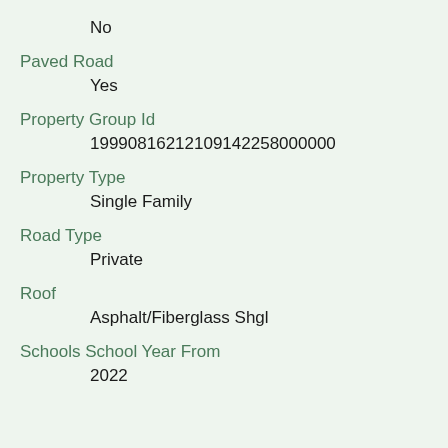No
Paved Road
Yes
Property Group Id
19990816212109142258000000
Property Type
Single Family
Road Type
Private
Roof
Asphalt/Fiberglass Shgl
Schools School Year From
2022